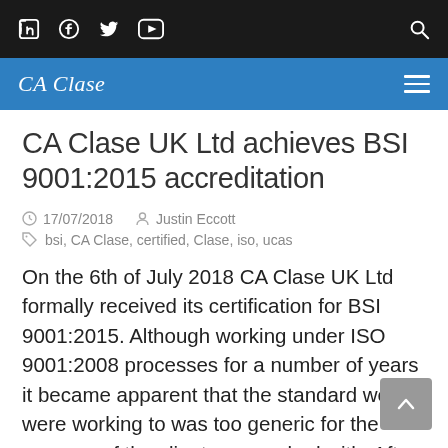CA Clase – top navigation bar with social icons and search
CA Clase UK Ltd achieves BSI 9001:2015 accreditation
17/07/2018   Justin Eccott
bsi, CA Clase, certified, Clase, iso, ucas
On the 6th of July 2018 CA Clase UK Ltd formally received its certification for BSI 9001:2015. Although working under ISO 9001:2008 processes for a number of years it became apparent that the standard we were working to was too generic for the purpose of the clients we worked with. After careful consideration and some…